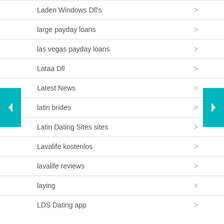Laden Windows Dll's
large payday loans
las vegas payday loans
Lataa Dll
Latest News
latin brides
Latin Dating Sites sites
Lavalife kostenlos
lavalife reviews
laying
LDS Dating app